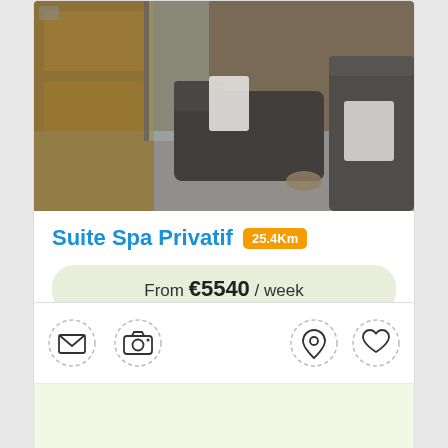[Figure (photo): Interior photo of a spa room with dark reclining lounge chair, wooden furniture, glass partition, and towels]
Suite Spa Privatif 25.4Km
From €5540 / week
Book Now
[Figure (infographic): Row of action icons: envelope/mail, camera, location pin, and heart/favorite icons with dashed circle borders]